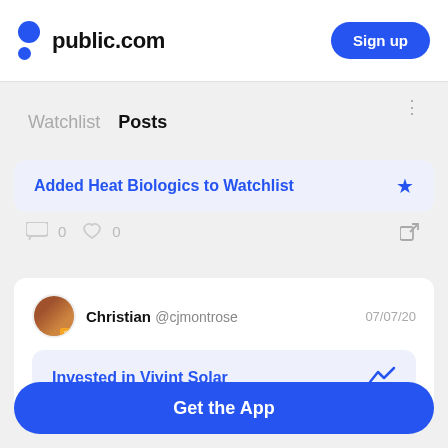public.com  Sign up
Watchlist  Posts
Added Heat Biologics to Watchlist
0  0
Christian @cjmontrose  07/07/20
Invested in Vivint Solar
Get the App